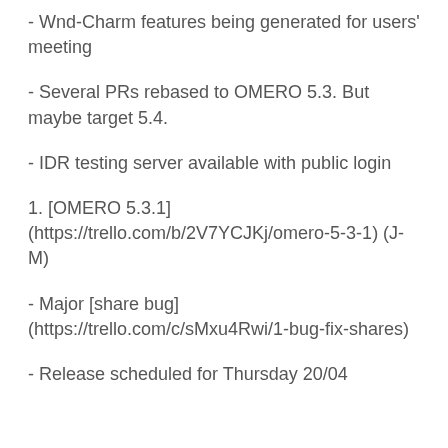- Wnd-Charm features being generated for users' meeting
- Several PRs rebased to OMERO 5.3. But maybe target 5.4.
- IDR testing server available with public login
1. [OMERO 5.3.1](https://trello.com/b/2V7YCJKj/omero-5-3-1) (J-M)
- Major [share bug](https://trello.com/c/sMxu4Rwi/1-bug-fix-shares)
- Release scheduled for Thursday 20/04